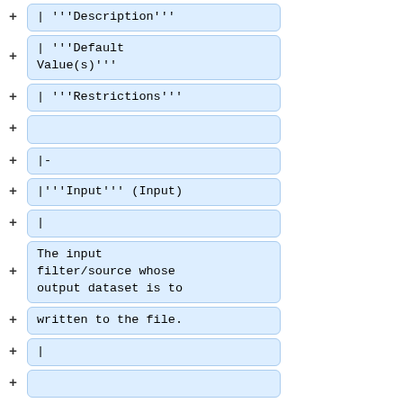+ | '''Description'''
+ | '''Default Value(s)'''
+ | '''Restrictions'''
+
+ |-
+ |'''Input''' (Input)
+ |
+ The input filter/source whose output dataset is to
+ written to the file.
+ |
+